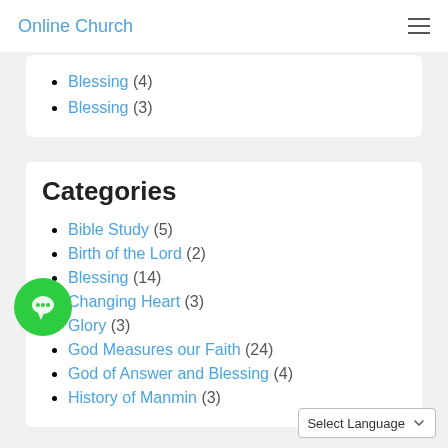Online Church
Blessing (4)
Blessing (3)
Categories
Bible Study (5)
Birth of the Lord (2)
Blessing (14)
Changing Heart (3)
Glory (3)
God Measures our Faith (24)
God of Answer and Blessing (4)
History of Manmin (3)